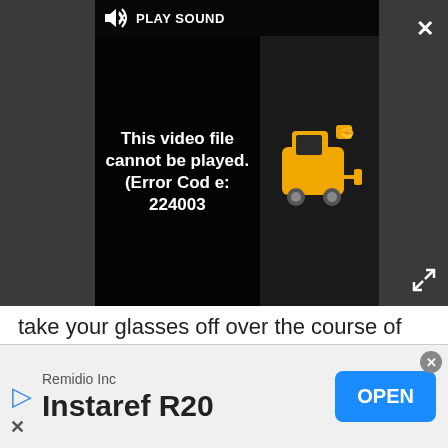[Figure (screenshot): Video player showing error message 'This video file cannot be played. (Error Code: 224003)' with a yellow truck icon on the right, play sound bar at top, close X button top right, expand icon bottom right, on a dark grey background.]
take your glasses off over the course of Onward, you'll witness a ton of blurriness in the background and foreground, depending on the sequence you're viewing. Because the movie is focused on the relationship between the Lightfoot brothers, you'll almost always be able to follow their crisp, clear dialogues without your glasses, but you're definitely going to want to leave them on to experience the scope of the 3D being manipulated.
[Figure (screenshot): Advertisement banner for 'Instaref R20' by Remidio Inc with a blue OPEN button on the right, a close X circle top right, and a play triangle icon and X dismiss at left.]